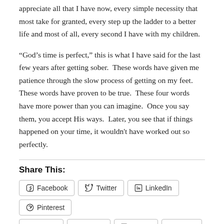appreciate all that I have now, every simple necessity that most take for granted, every step up the ladder to a better life and most of all, every second I have with my children.
“God’s time is perfect,” this is what I have said for the last few years after getting sober.  These words have given me patience through the slow process of getting on my feet.  These words have proven to be true.  These four words have more power than you can imagine.  Once you say them, you accept His ways.  Later, you see that if things happened on your time, it wouldn't have worked out so perfectly.
Share This:
Facebook  Twitter  LinkedIn  Pinterest